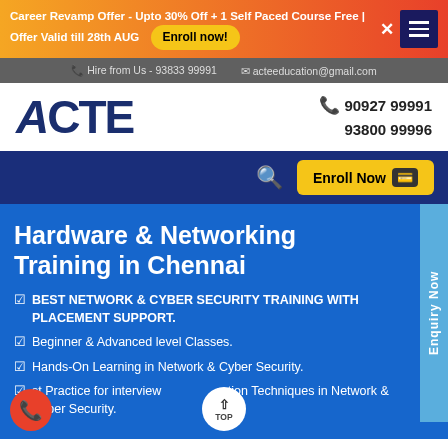Career Revamp Offer - Upto 30% Off + 1 Self Paced Course Free | Offer Valid till 28th AUG  Enroll now!
Hire from Us - 93833 99991   acteeducation@gmail.com
[Figure (logo): ACTE logo in bold dark blue letters]
90927 99991
93800 99996
Enroll Now
Hardware & Networking Training in Chennai
BEST NETWORK & CYBER SECURITY TRAINING WITH PLACEMENT SUPPORT.
Beginner & Advanced level Classes.
Hands-On Learning in Network & Cyber Security.
Best Practice for interview preparation Techniques in Network & Cyber Security.